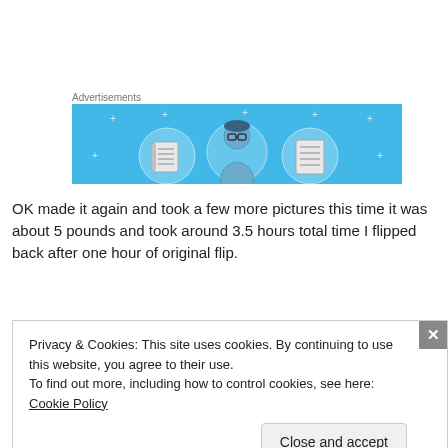Advertisements
[Figure (illustration): Advertisement banner with light blue background showing three circular icons: a notebook/journal, a person with glasses, and a lined document/list.]
OK made it again and took a few more pictures this time it was about 5 pounds and took around 3.5 hours total time I flipped back after one hour of original flip.
Privacy & Cookies: This site uses cookies. By continuing to use this website, you agree to their use.
To find out more, including how to control cookies, see here: Cookie Policy
Close and accept